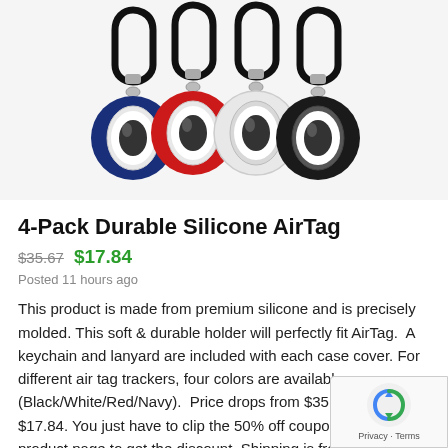[Figure (photo): Four AirTag holders in blue, red, white, and black silicone, each with a black carabiner clip attached at the top. The holders are circular with a cutout showing the AirTag inside.]
4-Pack Durable Silicone AirTag
$35.67  $17.84
Posted 11 hours ago
This product is made from premium silicone and is precisely molded. This soft & durable holder will perfectly fit AirTag.  A keychain and lanyard are included with each case cover. For different air tag trackers, four colors are available (Black/White/Red/Navy).  Price drops from $35.67 down to $17.84. You just have to clip the 50% off coupon found on the product page to get the discount. Shipping is free for Prime members, though.